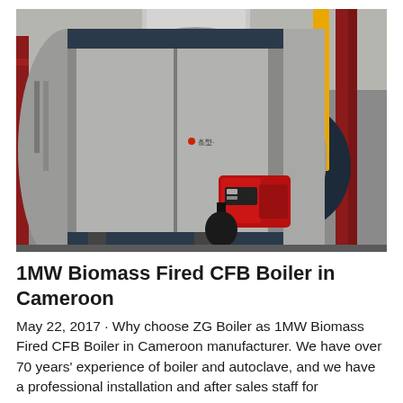[Figure (photo): Industrial boiler installation showing two large cylindrical boilers with a red burner attached to the front boiler, yellow gas piping on the right, and red structural supports, inside a factory/industrial building.]
1MW Biomass Fired CFB Boiler in Cameroon
May 22, 2017 · Why choose ZG Boiler as 1MW Biomass Fired CFB Boiler in Cameroon manufacturer. We have over 70 years' experience of boiler and autoclave, and we have a professional installation and after sales staff for